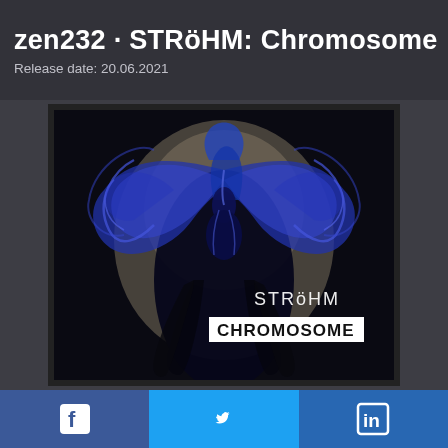zen232 · STRöHM: Chromosome
Release date: 20.06.2021
[Figure (illustration): Album cover for STRöHM - Chromosome. Dark abstract artwork featuring a symmetrical blue and black figure resembling an insect or biological structure. Text on image reads 'STRöHM' and 'CHROMOSOME' in stylized lettering.]
[Figure (logo): Facebook logo (f) social share button]
[Figure (logo): Twitter bird logo social share button]
[Figure (logo): LinkedIn logo (in) social share button]